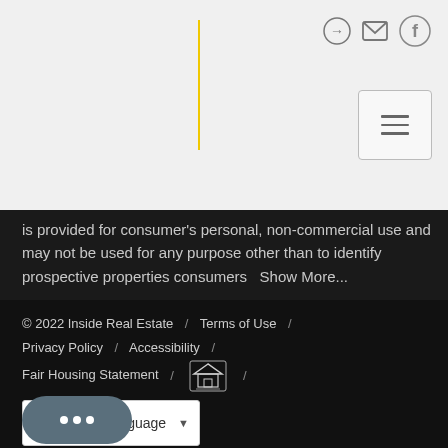[Figure (screenshot): Navigation bar with yellow vertical line divider, user icons (login, email, Facebook), and hamburger menu button on light gray background]
is provided for consumer's personal, non-commercial use and may not be used for any purpose other than to identify prospective properties consumers   Show More...
© 2022 Inside Real Estate  /  Terms of Use  /  Privacy Policy  /  Accessibility  /  Fair Housing Statement  /  [Equal Housing Opportunity logo]
[Figure (screenshot): Google Translate language selector widget with G logo and dropdown arrow]
[Figure (other): Chat bubble button with three dots]